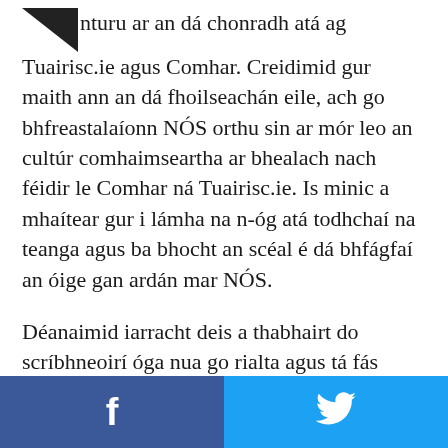nturu ar an dá chonradh atá ag Tuairisc.ie agus Comhar. Creidimid gur maith ann an dá fhoilseachán eile, ach go bhfreastalaíonn NÓS orthu sin ar mór leo an cultúr comhaimseartha ar bhealach nach féidir le Comhar ná Tuairisc.ie. Is minic a mhaítear gur i lámha na n-óg atá todhchaí na teanga agus ba bhocht an scéal é dá bhfágfaí an óige gan ardán mar NÓS.
Déanaimid iarracht deis a thabhairt do scríbhneoirí óga nua go rialta agus tá fás leanúnach ag teacht ar líon na ndaoine, ó gach cearn den tír seo agus ó thíortha eile, a bhíonn ag scríobh dúinn ar iliomad ábhar. Tá scríbhneoirí rialta againn atá lonnaithe i ngach cúige in Éirinn, ar Mhór-Roinn na hEorpa
f  🐦